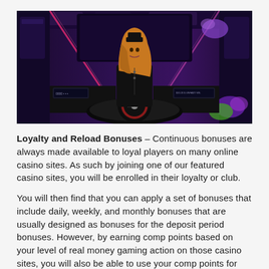[Figure (photo): A live casino dealer woman with long red hair wearing a black outfit stands behind a roulette table in a futuristic-themed studio with purple and pink neon lighting. Multiple screens and casino equipment are visible in the background.]
Loyalty and Reload Bonuses – Continuous bonuses are always made available to loyal players on many online casino sites. As such by joining one of our featured casino sites, you will be enrolled in their loyalty or club.
You will then find that you can apply a set of bonuses that include daily, weekly, and monthly bonuses that are usually designed as bonuses for the deposit period bonuses. However, by earning comp points based on your level of real money gaming action on those casino sites, you will also be able to use your comp points for credits!